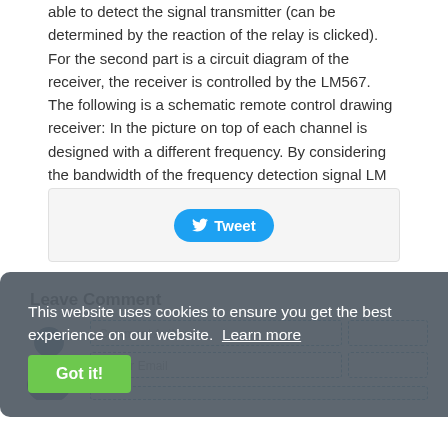able to detect the signal transmitter (can be determined by the reaction of the relay is clicked). For the second part is a circuit diagram of the receiver, the receiver is controlled by the LM567. The following is a schematic remote control drawing receiver: In the picture on top of each channel is designed with a different frequency. By considering the bandwidth of the frequency detection signal LM 567, inter-frequency channels should have a big enough difference, let`s try remote control with a difference of 5 KHz.
[Figure (other): Tweet social share button]
[Figure (screenshot): Cookie consent banner overlay with 'Got it!' button and comment form fields visible behind it including Comment Author and Author Email fields]